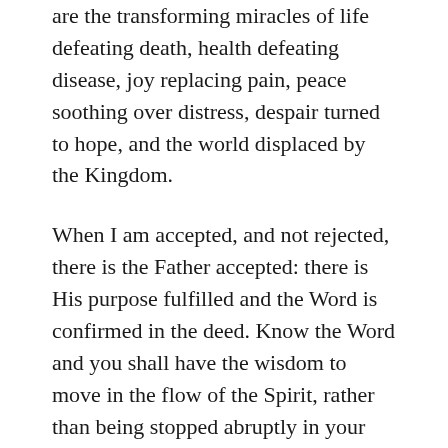are the transforming miracles of life defeating death, health defeating disease, joy replacing pain, peace soothing over distress, despair turned to hope, and the world displaced by the Kingdom.
When I am accepted, and not rejected, there is the Father accepted: there is His purpose fulfilled and the Word is confirmed in the deed. Know the Word and you shall have the wisdom to move in the flow of the Spirit, rather than being stopped abruptly in your tracks that you will be forced to turn in a new direction.
Let Me support you in My loving arms as we go together doing good. Our love shall be all the